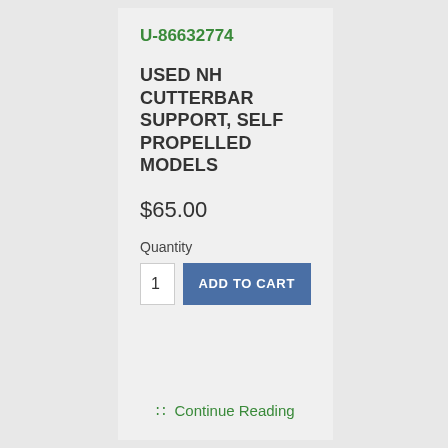U-86632774
USED NH CUTTERBAR SUPPORT, SELF PROPELLED MODELS
$65.00
Quantity
1
ADD TO CART
Continue Reading